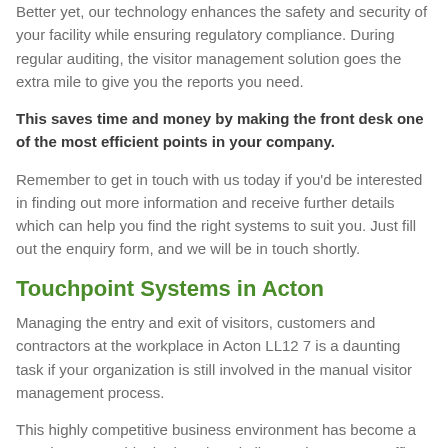Better yet, our technology enhances the safety and security of your facility while ensuring regulatory compliance. During regular auditing, the visitor management solution goes the extra mile to give you the reports you need.
This saves time and money by making the front desk one of the most efficient points in your company.
Remember to get in touch with us today if you'd be interested in finding out more information and receive further details which can help you find the right systems to suit you. Just fill out the enquiry form, and we will be in touch shortly.
Touchpoint Systems in Acton
Managing the entry and exit of visitors, customers and contractors at the workplace in Acton LL12 7 is a daunting task if your organization is still involved in the manual visitor management process.
This highly competitive business environment has become a mandate to provide the best hospitality services to your office visitors. Therefore the lobby area plays a vital role to make the